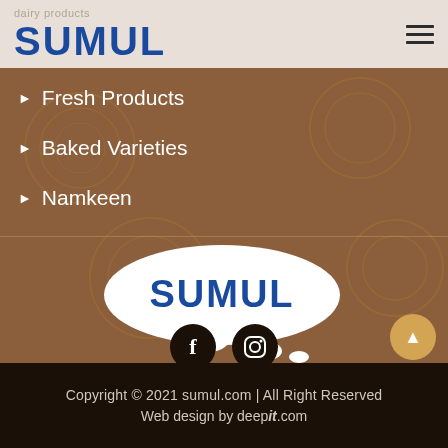[Figure (logo): SUMUL brand logo in bold blue text in header area]
Fresh Products
Baked Varieties
Namkeen
[Figure (logo): SUMUL logo inside a white speech bubble with two smaller white oval bubbles below it, on brown background]
[Figure (infographic): Facebook icon (f) in dark circle and Instagram camera icon in dark circle, social media links]
[Figure (other): Back to top button - golden/tan circle with upward pointing triangle, bottom right corner]
Copyright © 2021 sumul.com | All Right Reserved
Web design by deepit.com